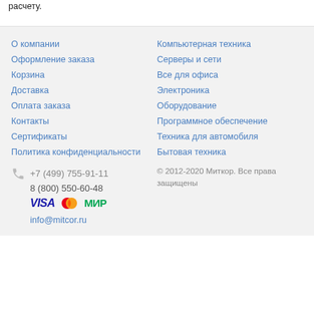расчету.
О компании
Оформление заказа
Корзина
Доставка
Оплата заказа
Контакты
Сертификаты
Политика конфиденциальности
Компьютерная техника
Серверы и сети
Все для офиса
Электроника
Оборудование
Программное обеспечение
Техника для автомобиля
Бытовая техника
+7 (499) 755-91-11
8 (800) 550-60-48
info@mitcor.ru
© 2012-2020 Миткор. Все права защищены